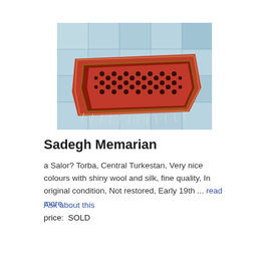[Figure (photo): A red and dark-patterned Salor Torba rug (Central Turkestan) laid flat on a light blue tiled floor. The rug is rectangular with geometric patterns and fringed edges.]
Sadegh Memarian
a Salor? Torba, Central Turkestan, Very nice colours with shiny wool and silk, fine quality, In original condition, Not restored, Early 19th ... read more
Ask about this
price:  SOLD